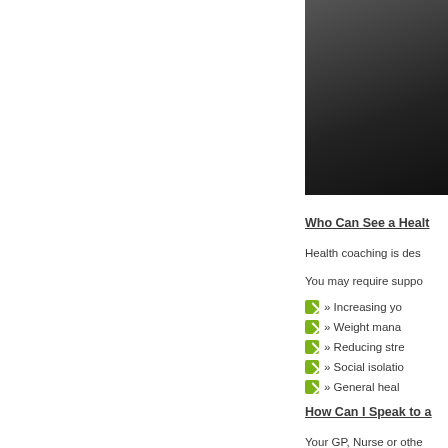[Figure (photo): Partial photo of a person, dark background, cropped to upper-right corner of page]
Who Can See a Health
Health coaching is des
You may require suppo
» Increasing yo
» Weight mana
» Reducing stre
» Social isolatio
» General heal
How Can I Speak to a
Your GP, Nurse or othe
Please discuss with the